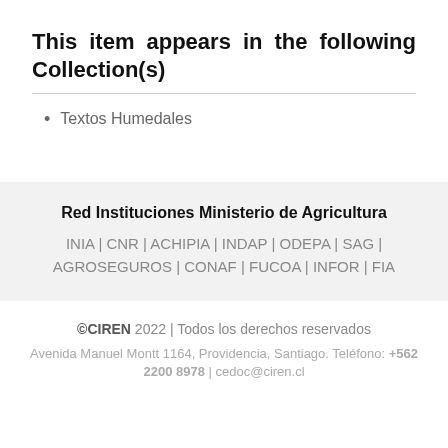This item appears in the following Collection(s)
Textos Humedales
Red Instituciones Ministerio de Agricultura
INIA | CNR | ACHIPIA | INDAP | ODEPA | SAG | AGROSEGUROS | CONAF | FUCOA | INFOR | FIA
©CIREN 2022 | Todos los derechos reservados
Avenida Manuel Montt 1164, Providencia, Santiago. Teléfono: +562 2200 8978 | cedoc@ciren.cl